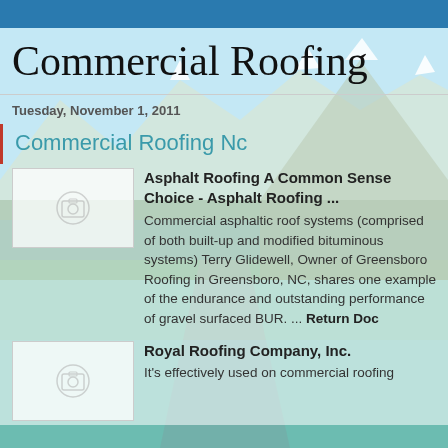Commercial Roofing
Tuesday, November 1, 2011
Commercial Roofing Nc
Asphalt Roofing A Common Sense Choice - Asphalt Roofing ... Commercial asphaltic roof systems (comprised of both built-up and modified bituminous systems) Terry Glidewell, Owner of Greensboro Roofing in Greensboro, NC, shares one example of the endurance and outstanding performance of gravel surfaced BUR. ... Return Doc
[Figure (photo): Placeholder thumbnail with camera icon]
Royal Roofing Company, Inc. It's effectively used on commercial roofing
[Figure (photo): Placeholder thumbnail with camera icon]